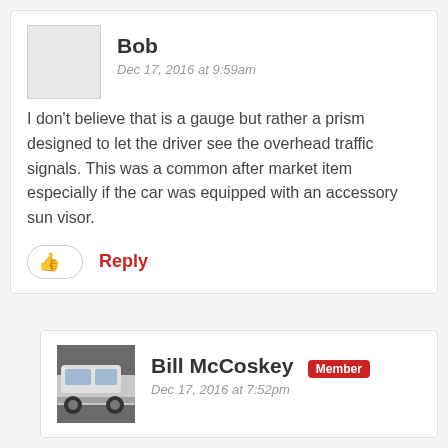Bob
Dec 17, 2016 at 9:59am
I don't believe that is a gauge but rather a prism designed to let the driver see the overhead traffic signals. This was a common after market item especially if the car was equipped with an accessory sun visor.
Reply
Bill McCoskey
Member
Dec 17, 2016 at 7:52pm